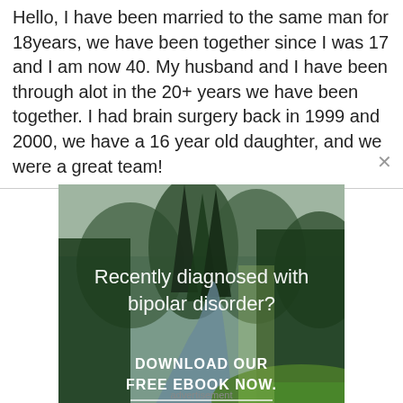Hello, I have been married to the same man for 18years, we have been together since I was 17 and I am now 40. My husband and I have been through alot in the 20+ years we have been together. I had brain surgery back in 1999 and 2000, we have a 16 year old daughter, and we were a great team!
[Figure (illustration): Advertisement banner showing a forest/nature scene with a river and trees, overlaid with white text reading 'Recently diagnosed with bipolar disorder? DOWNLOAD OUR FREE EBOOK NOW.' with a white underline beneath the bottom text.]
advertisement